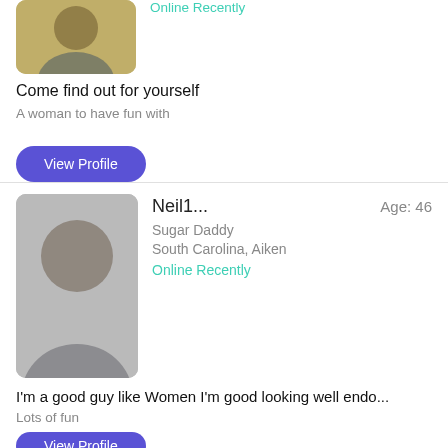[Figure (photo): Blurred profile photo of a person, partial view at top of page]
Online Recently
Come find out for yourself
A woman to have fun with
View Profile
[Figure (photo): Blurred profile photo of Neil, a man, square with rounded corners]
Neil1...	Age: 46
Sugar Daddy
South Carolina, Aiken
Online Recently
I'm a good guy like Women I'm good looking well endo...
Lots of fun
View Profile
[Figure (photo): Partial blurred profile photo of Andym, top portion visible]
Andym...	Age: 46
Sugar Daddy